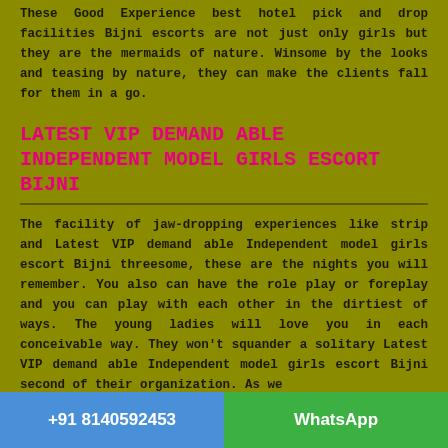These Good Experience best hotel pick and drop facilities Bijni escorts are not just only girls but they are the mermaids of nature. Winsome by the looks and teasing by nature, they can make the clients fall for them in a go.
LATEST VIP DEMAND ABLE INDEPENDENT MODEL GIRLS ESCORT BIJNI
The facility of jaw-dropping experiences like strip and Latest VIP demand able Independent model girls escort Bijni threesome, these are the nights you will remember. You also can have the role play or foreplay and you can play with each other in the dirtiest of ways. The young ladies will love you in each conceivable way. They won't squander a solitary Latest VIP demand able Independent model girls escort Bijni second of their organization. As we
+91 8140592453    WhatsApp